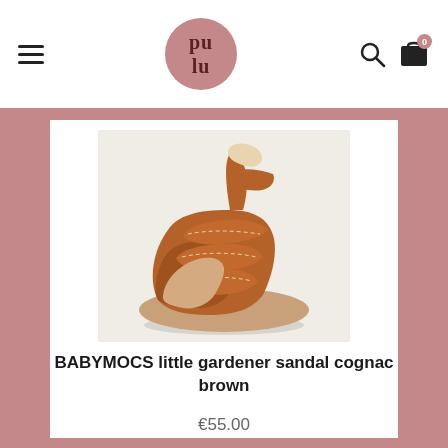pu lu — navigation header with hamburger menu, logo, search and cart icons
[Figure (photo): A brown cognac leather baby sandal (BABYMOCS little gardener) photographed on a white surface, showing strapped closed-toe design with stitching detail]
BABYMOCS little gardener sandal cognac brown
€55.00